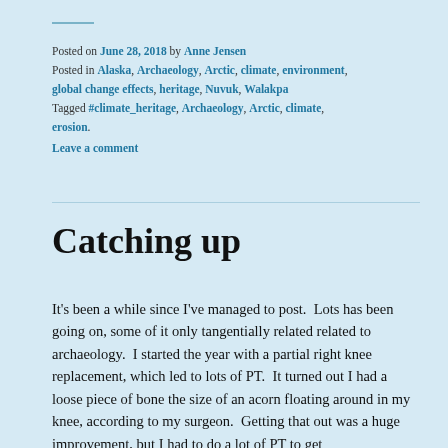Posted on June 28, 2018 by Anne Jensen
Posted in Alaska, Archaeology, Arctic, climate, environment, global change effects, heritage, Nuvuk, Walakpa
Tagged #climate_heritage, Archaeology, Arctic, climate, erosion.
Leave a comment
Catching up
It's been a while since I've managed to post.  Lots has been going on, some of it only tangentially related related to archaeology.  I started the year with a partial right knee replacement, which led to lots of PT.  It turned out I had a loose piece of bone the size of an acorn floating around in my knee, according to my surgeon.  Getting that out was a huge improvement, but I had to do a lot of PT to get